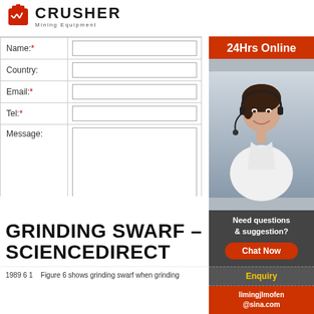[Figure (logo): Crusher Mining Equipment logo with red bag icon and bold CRUSHER text]
| Name:* |  |
| Country: |  |
| Email:* |  |
| Tel:* |  |
| Message: |  |
|  | Submit |
[Figure (photo): 24Hrs Online customer service representative wearing headset, with Need questions & suggestion? text, Chat Now button, Enquiry section, and limingjlmofen@sina.com contact]
GRINDING SWARF – SCIENCEDIRECT
1989 6 1    Figure 6 shows grinding swarf when grinding